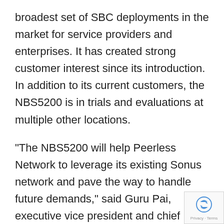broadest set of SBC deployments in the market for service providers and enterprises. It has created strong customer interest since its introduction. In addition to its current customers, the NBS5200 is in trials and evaluations at multiple other locations.
"The NBS5200 will help Peerless Network to leverage its existing Sonus network and pave the way to handle future demands," said Guru Pai, executive vice president and chief operating officer for Sonus. "Their decision demonstrates the market demand for a high session scale, transcoding dense session border controller solution. With it, they save on capital and operational expenses, which increases their return